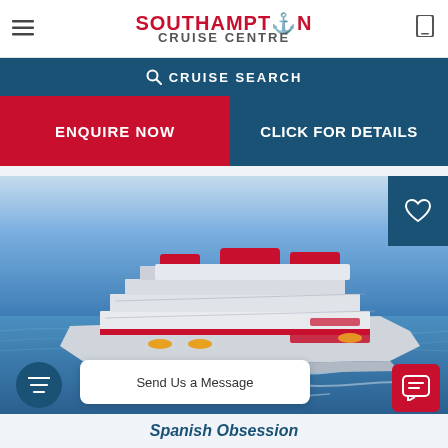SOUTHAMPTON CRUISE CENTRE
CRUISE SEARCH
ENQUIRE NOW
CLICK FOR DETAILS
[Figure (photo): Aerial view of a large cruise ship with red and white livery sailing through blue ocean waters]
Send Us a Message
Spanish Obsession